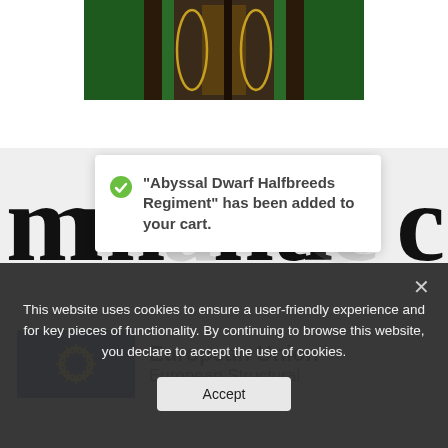[Figure (photo): Partial product image of a fantasy miniature/figure in green and gold colors, cropped at the top of the page]
[Figure (logo): Mantic Games logo in large black serif font letters 'm...tic' with stylized typography, partially obscured by the toast notification]
“Abyssal Dwarf Halfbreeds Regiment” has been added to your cart.
[Figure (logo): European Union European Structural Funds logo with EU flag (blue background with yellow stars) on the left and text 'European Union / European Structural' on the right]
This website uses cookies to ensure a user-friendly experience and for key pieces of functionality. By continuing to browse this website, you declare to accept the use of cookies.
Accept